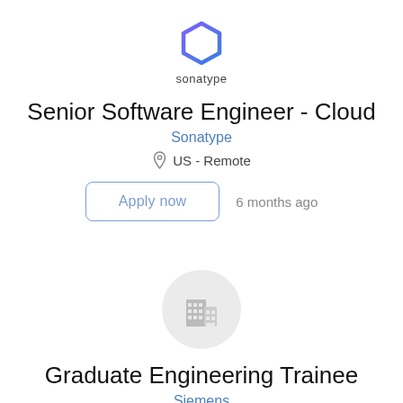[Figure (logo): Sonatype hexagon logo in purple/blue gradient with text 'sonatype' below]
Senior Software Engineer - Cloud
Sonatype
US - Remote
Apply now   6 months ago
[Figure (logo): Generic grey building/company logo icon in a light grey circle]
Graduate Engineering Trainee
Siemens
Bengaluru, Karnataka